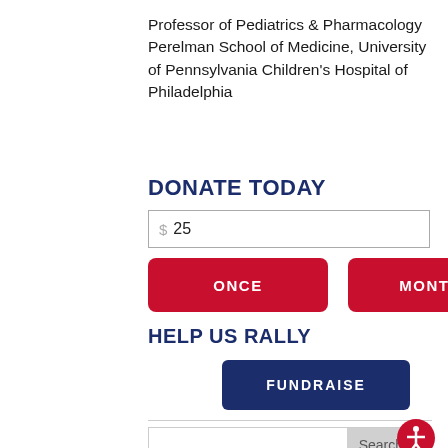Professor of Pediatrics & Pharmacology Perelman School of Medicine, University of Pennsylvania Children's Hospital of Philadelphia
DONATE TODAY
$ 25
ONCE
MONTHLY
HELP US RALLY
FUNDRAISE
Search